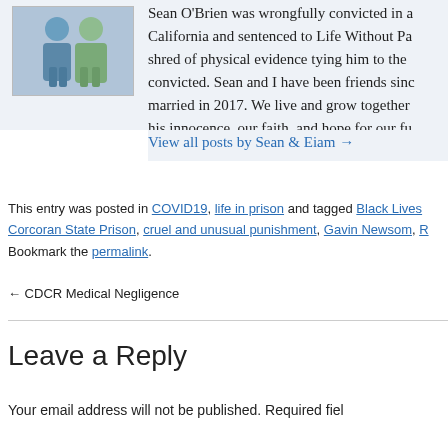[Figure (photo): Photo of a man and woman standing together, displayed in a light blue biographical section]
Sean O'Brien was wrongfully convicted in California and sentenced to Life Without Parole with no shred of physical evidence tying him to the crime he was convicted. Sean and I have been friends since... married in 2017. We live and grow together... his innocence, our faith, and hope for our future wherever it may take us, cherishing each moment, staying true to our hearts. This blog is about... together and our fight for justice. Thank you...
View all posts by Sean & Eiam →
This entry was posted in COVID19, life in prison and tagged Black Lives..., Corcoran State Prison, cruel and unusual punishment, Gavin Newsom, R... Bookmark the permalink.
← CDCR Medical Negligence
Leave a Reply
Your email address will not be published. Required field...